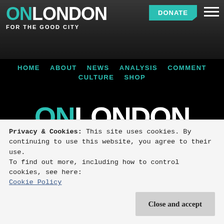[Figure (screenshot): On London website header with logo, city background photo, DONATE button and hamburger menu]
HOME  ABOUT  NEWS  ANALYSIS  COMMENT  CULTURE  SHOP
ON LONDON FOR THE GOOD CITY
On London is run by Dave Hill, formerly the Guardian's award-winning London commentator, and written by him and an array of fellow Londoncentrics. It aims to improve the quality of coverage of London politics, development and
Privacy & Cookies: This site uses cookies. By continuing to use this website, you agree to their use.
To find out more, including how to control cookies, see here: Cookie Policy
Close and accept